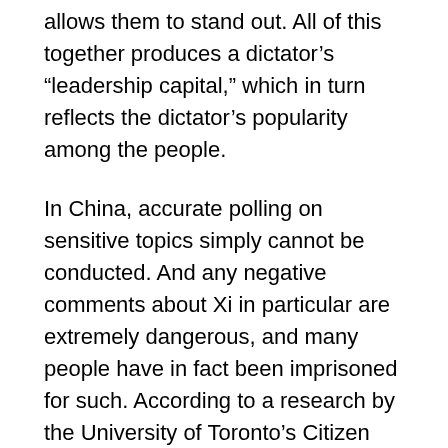allows them to stand out. All of this together produces a dictator's “leadership capital,” which in turn reflects the dictator’s popularity among the people.
In China, accurate polling on sensitive topics simply cannot be conducted. And any negative comments about Xi in particular are extremely dangerous, and many people have in fact been imprisoned for such. According to a research by the University of Toronto’s Citizen Lab institute, 87% of the terms that trigger China’s online-censorship system involve Xi himself. To overcome this self-censorship problem, we can look at the internationally widely used “Leadership Capital Index” (LCI), which can be applied to any